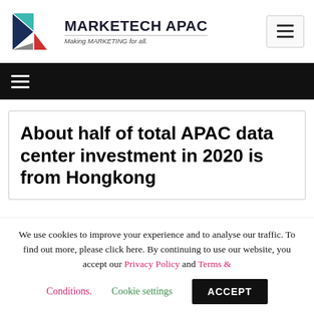MARKETECH APAC — Making MARKETING for all.
About half of total APAC data center investment in 2020 is from Hongkong
We use cookies to improve your experience and to analyse our traffic. To find out more, please click here. By continuing to use our website, you accept our Privacy Policy and Terms & Conditions. Cookie settings ACCEPT